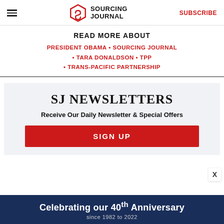SOURCING JOURNAL | SUBSCRIBE
READ MORE ABOUT
PRESIDENT OBAMA • SOURCING JOURNAL • TARA DONALDSON • TPP • TRANS-PACIFIC PARTNERSHIP
SJ NEWSLETTERS
Receive Our Daily Newsletter & Special Offers
SIGN UP
Celebrating our 40th Anniversary since 1982 to 2022